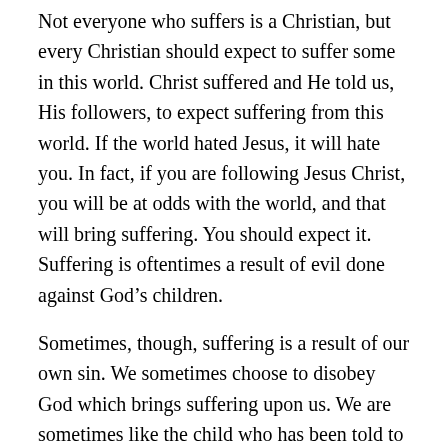Not everyone who suffers is a Christian, but every Christian should expect to suffer some in this world. Christ suffered and He told us, His followers, to expect suffering from this world. If the world hated Jesus, it will hate you. In fact, if you are following Jesus Christ, you will be at odds with the world, and that will bring suffering. You should expect it. Suffering is oftentimes a result of evil done against God’s children.
Sometimes, though, suffering is a result of our own sin. We sometimes choose to disobey God which brings suffering upon us. We are sometimes like the child who has been told to behave but chooses not to do it. As God’s children, we will sometimes choose the desires of the flesh over the desires of our a Heavenly Father.